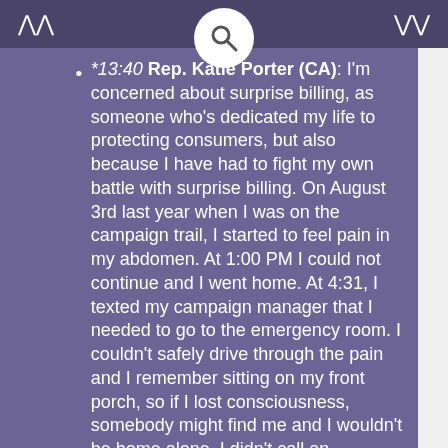*13:40 Rep. Katie Porter (CA): I'm concerned about surprise billing, as someone who's dedicated my life to protecting consumers, but also because I have had to fight my own battle with surprise billing. On August 3rd last year when I was on the campaign trail, I started to feel pain in my abdomen. At 1:00 PM I could not continue and I went home. At 4:31, I texted my campaign manager that I needed to go to the emergency room. I couldn't safely drive through the pain and I remember sitting on my front porch, so if I lost consciousness, somebody might find me and I wouldn't be home alone. I didn't call an ambulance because I was concerned about the cost. I could not drive and I asked my manager to please take me to Hoag hospital. I chose that hospital even though it was farther away from other providers, because I knew Hoag